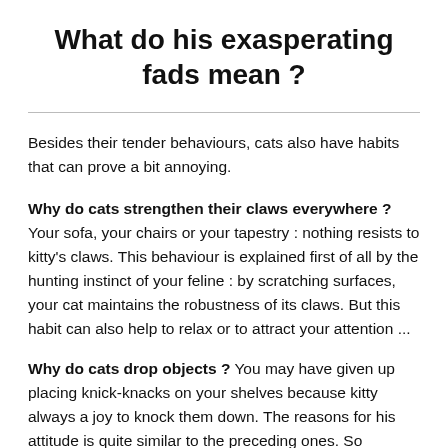What do his exasperating fads mean ?
Besides their tender behaviours, cats also have habits that can prove a bit annoying.
Why do cats strengthen their claws everywhere ? Your sofa, your chairs or your tapestry : nothing resists to kitty’s claws. This behaviour is explained first of all by the hunting instinct of your feline : by scratching surfaces, your cat maintains the robustness of its claws. But this habit can also help to relax or to attract your attention ...
Why do cats drop objects ? You may have given up placing knick-knacks on your shelves because kitty always a joy to knock them down. The reasons for his attitude is quite similar to the preceding ones. So